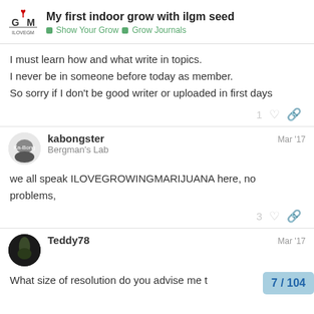My first indoor grow with ilgm seed | Show Your Grow > Grow Journals
I must learn how and what write in topics.
I never be in someone before today as member.
So sorry if I don't be good writer or uploaded in first days
kabongster  Mar '17
Bergman's Lab
we all speak ILOVEGROWINGMARIJUANA here, no problems,
Teddy78  Mar '17
What size of resolution do you advise me t
7 / 104